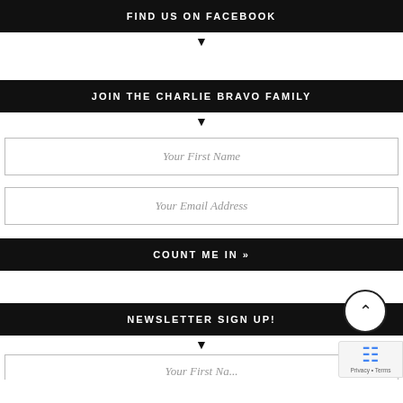FIND US ON FACEBOOK
JOIN THE CHARLIE BRAVO FAMILY
Your First Name
Your Email Address
COUNT ME IN »
NEWSLETTER SIGN UP!
Your First Na...